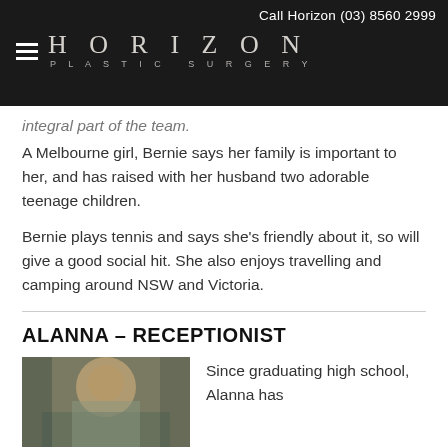Call Horizon (03) 8560 2999 | HORIZON PLASTIC SURGERY
integral part of the team.
A Melbourne girl, Bernie says her family is important to her, and has raised with her husband two adorable teenage children.
Bernie plays tennis and says she’s friendly about it, so will give a good social hit. She also enjoys travelling and camping around NSW and Victoria.
ALANNA – RECEPTIONIST
[Figure (photo): Photo of Alanna, a young woman with blonde hair, seen from behind/side angle in what appears to be a casual setting]
Since graduating high school, Alanna has